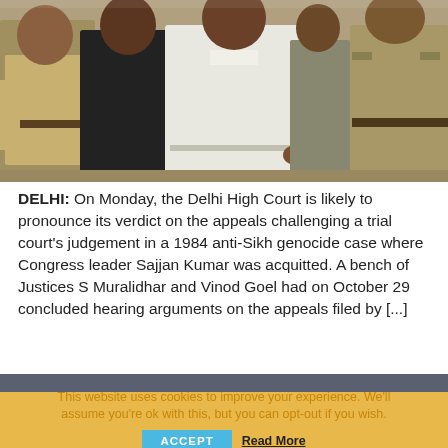[Figure (photo): Photo of a man in white traditional Indian clothing flanked by police officers in khaki uniforms, being escorted, likely Congress leader Sajjan Kumar.]
DELHI: On Monday, the Delhi High Court is likely to pronounce its verdict on the appeals challenging a trial court's judgement in a 1984 anti-Sikh genocide case where Congress leader Sajjan Kumar was acquitted. A bench of Justices S Muralidhar and Vinod Goel had on October 29 concluded hearing arguments on the appeals filed by [...]
This website uses cookies to improve your experience. We'll assume you're ok with this, but you can opt-out if you wish. ACCEPT Read More